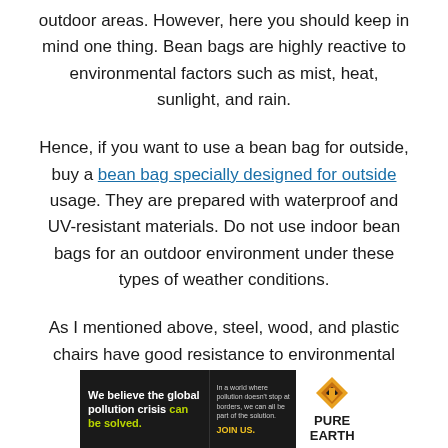outdoor areas. However, here you should keep in mind one thing. Bean bags are highly reactive to environmental factors such as mist, heat, sunlight, and rain.
Hence, if you want to use a bean bag for outside, buy a bean bag specially designed for outside usage. They are prepared with waterproof and UV-resistant materials. Do not use indoor bean bags for an outdoor environment under these types of weather conditions.
As I mentioned above, steel, wood, and plastic chairs have good resistance to environmental factors.
[Figure (other): Advertisement banner for Pure Earth organization. Black background on left with white bold text 'We believe the global pollution crisis can be solved.' with 'can be solved.' in yellow-green. Middle section has small white text 'In a world where pollution doesn't stop at borders, we can all be part of the solution.' and 'JOIN US.' in yellow. Right section has white background with Pure Earth logo (diamond shape with downward arrow) and bold text 'PURE EARTH'.]